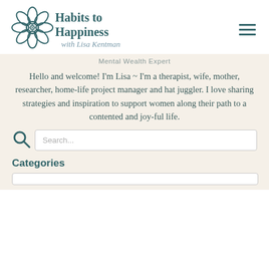[Figure (logo): Habits to Happiness with Lisa Kentman logo — flower icon on left, text on right in teal/dark teal]
Mental Wealth Expert
Hello and welcome! I'm Lisa ~ I'm a therapist, wife, mother, researcher, home-life project manager and hat juggler. I love sharing strategies and inspiration to support women along their path to a contented and joy-ful life.
Search...
Categories